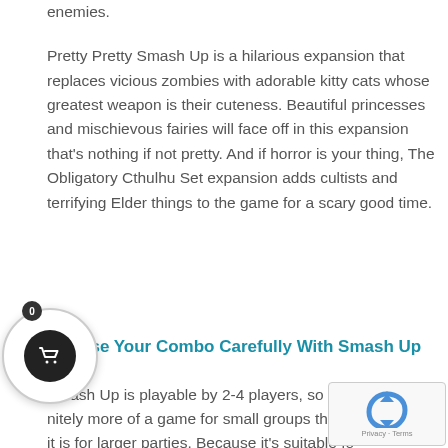enemies.
Pretty Pretty Smash Up is a hilarious expansion that replaces vicious zombies with adorable kitty cats whose greatest weapon is their cuteness. Beautiful princesses and mischievous fairies will face off in this expansion that's nothing if not pretty. And if horror is your thing, The Obligatory Cthulhu Set expansion adds cultists and terrifying Elder things to the game for a scary good time.
Choose Your Combo Carefully With Smash Up
Smash Up is playable by 2-4 players, so it's definitely more of a game for small groups than it is for larger parties. Because it's suitable fo...